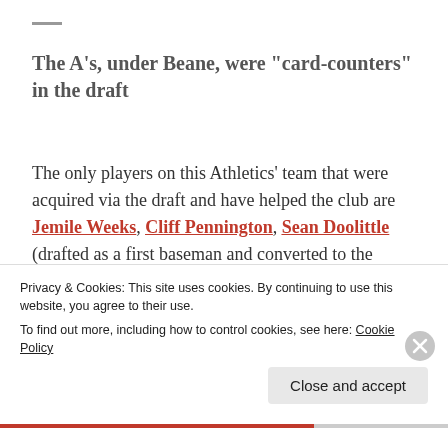The A’s, under Beane, were “card-counters” in the draft
The only players on this Athletics’ team that were acquired via the draft and have helped the club are Jemile Weeks, Cliff Pennington, Sean Doolittle (drafted as a first baseman and converted to the mound), Dan Straily, and A.J. Griffin. The A’s drafts since Moneyball have been mediocre at best and terrible at worst, so bad that Grady Fuson—along with
Privacy & Cookies: This site uses cookies. By continuing to use this website, you agree to their use.
To find out more, including how to control cookies, see here: Cookie Policy
Close and accept